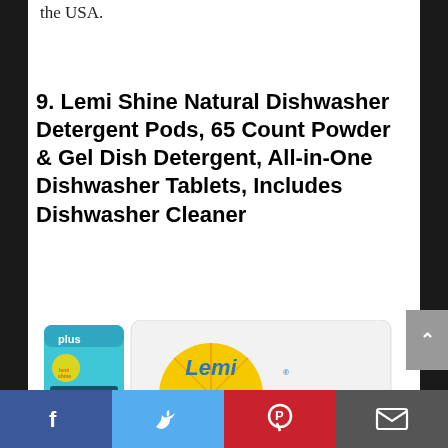the USA.
9. Lemi Shine Natural Dishwasher Detergent Pods, 65 Count Powder & Gel Dish Detergent, All-in-One Dishwasher Tablets, Includes Dishwasher Cleaner
[Figure (photo): Lemi Shine dishwasher detergent pods product bag with a teal/blue accent pouch labeled 'plus' and 'Dishwasher Cleaner' next to a white bag with yellow lemon logo reading 'Lemi Shine']
Facebook | Twitter | Pinterest | Email social sharing bar